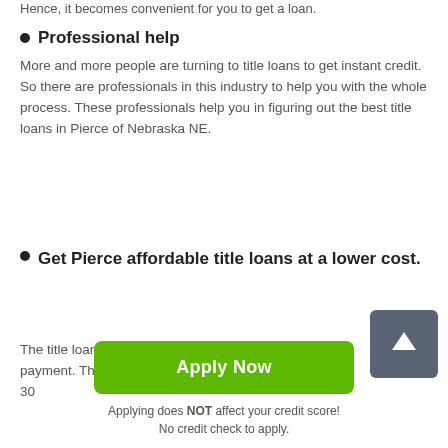Hence, it becomes convenient for you to get a loan.
Professional help
More and more people are turning to title loans to get instant credit. So there are professionals in this industry to help you with the whole process. These professionals help you in figuring out the best title loans in Pierce of Nebraska NE.
Get Pierce affordable title loans at a lower cost.
The title loans are affordable in terms of the period for payment. There is no definite time, and it can vary from 30
[Figure (other): Scroll-to-top button with upward arrow on dark grey background]
Apply Now
Applying does NOT affect your credit score!
No credit check to apply.